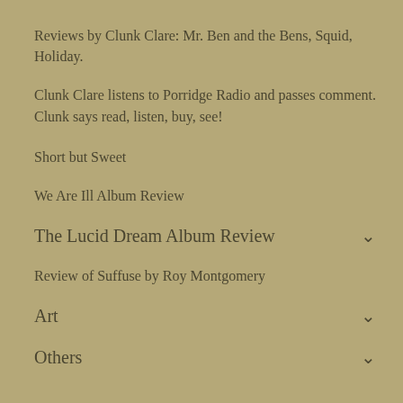Reviews by Clunk Clare: Mr. Ben and the Bens, Squid, Holiday.
Clunk Clare listens to Porridge Radio and passes comment. Clunk says read, listen, buy, see!
Short but Sweet
We Are Ill Album Review
The Lucid Dream Album Review
Review of Suffuse by Roy Montgomery
Art
Others